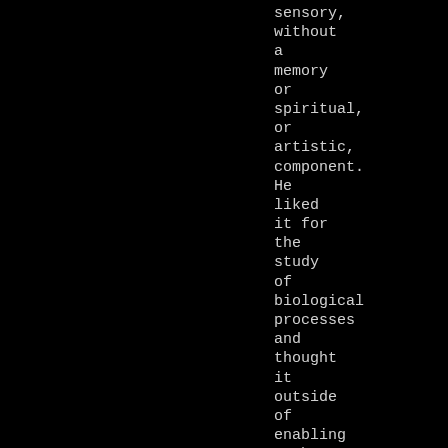sensory, without a memory or spiritual, or artistic, component. He liked it for the study of biological processes and thought it outside of enabling to be seen